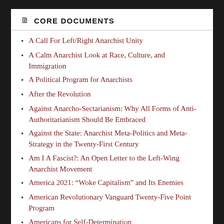CORE DOCUMENTS
A Call For Left/Right Anarchist Unity
A Calm Anarchist Look at Race, Culture, and Immigration
A Political Program for Anarchists
After the Revolution
Against Anarcho-Sectarianism: Why All Forms of Anti-Authoritarianism Should Be Embraced
Against the State: Anarchist Meta-Politics and Meta-Strategy in the Twenty-First Century
Am I A Fascist?: An Open Letter to the Left-Wing Anarchist Movement
America 2021: “Woke Capitalism” and Its Enemies
American Revolutionary Vanguard Twenty-Five Point Program
Americans for Self-Determination
An Alternative to the American Empire of the New World
An Anarchist National Defense and Foreign Policy
An Interview with Keith Preston